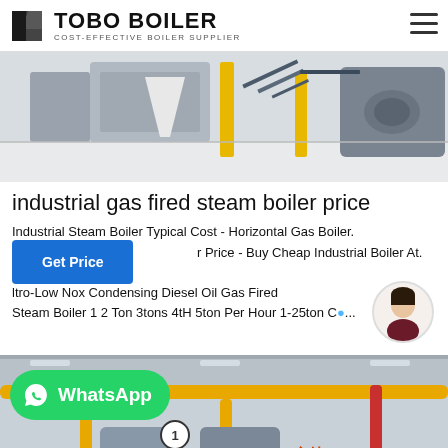TOBO BOILER — COST-EFFECTIVE BOILER SUPPLIER
[Figure (photo): Industrial boiler equipment inside a factory floor with yellow pillars and metal staircases]
industrial gas fired steam boiler price
Industrial Steam Boiler Typical Cost - Horizontal Gas Boiler. r Price - Buy Cheap Industrial Boiler At. Industrial ltro-Low Nox Condensing Diesel Oil Gas Fired Steam Boiler 1 2 Ton 3tons 4tH 5ton Per Hour 1-25ton C...
[Figure (photo): Interior of a bus or public vehicle with yellow handrails and seats, showing Chinese text 方快]